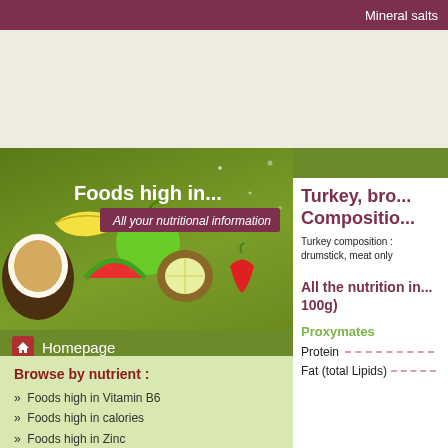Mineral salts
[Figure (illustration): Foods high in... website banner with fruits (coconut, banana, apple, watermelon, kiwi, strawberry) on green background with text 'Foods high in... All your nutritional information']
Homepage
Browse by nutrient :
Foods high in Vitamin B6
Foods high in calories
Foods high in Zinc
Turkey, bro... Composition
Turkey composition : drumstick, meat only
All the nutrition in... 100g)
Proxymates
Protein
Fat (total Lipids)